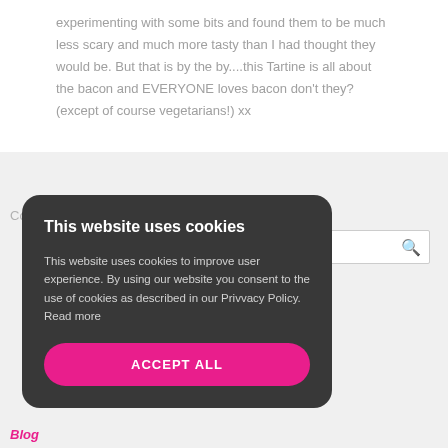experimenting with some bits and found them to be much less scary and much more tasty than I had thought they would be. But that is by the by....this Tartine is all about the bacon and EVERYONE loves bacon don't they? (except of course vegetarians!) xx
Comments are closed.
This website uses cookies
This website uses cookies to improve user experience. By using our website you consent to the use of cookies as described in our Privvacy Policy. Read more
ACCEPT ALL
Blog